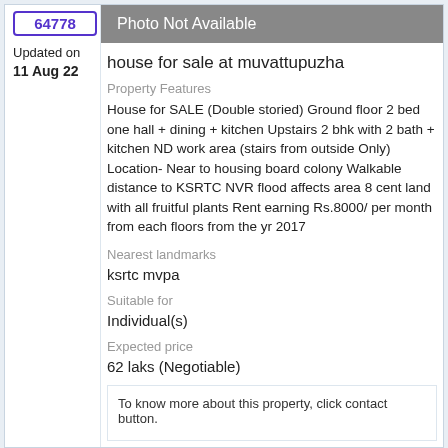64778
Updated on 11 Aug 22
Villa/House
at MOVATTUPUZHA
[Figure (photo): Photo Not Available placeholder]
house for sale at muvattupuzha
Property Features
House for SALE (Double storied) Ground floor 2 bed one hall + dining + kitchen Upstairs 2 bhk with 2 bath + kitchen ND work area (stairs from outside Only) Location- Near to housing board colony Walkable distance to KSRTC NVR flood affects area 8 cent land with all fruitful plants Rent earning Rs.8000/ per month from each floors from the yr 2017
Nearest landmarks
ksrtc mvpa
Suitable for
Individual(s)
Expected price
62 laks (Negotiable)
To know more about this property, click contact button.
Property
10 cents residential land at